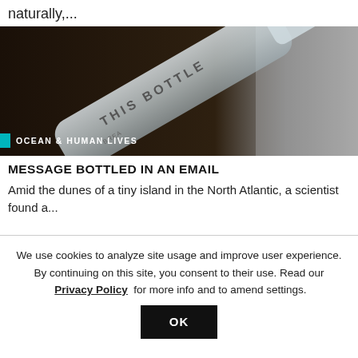naturally,...
[Figure (photo): A frosted glass bottle lying on a dark surface, with text partially visible on the bottle including 'THIS BOTTLE'. Labeled 'OCEAN & HUMAN LIVES' with a teal bar on the left.]
MESSAGE BOTTLED IN AN EMAIL
Amid the dunes of a tiny island in the North Atlantic, a scientist found a...
We use cookies to analyze site usage and improve user experience. By continuing on this site, you consent to their use. Read our Privacy Policy for more info and to amend settings.
OK